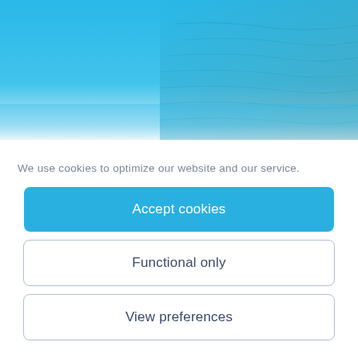[Figure (photo): Hero image of ocean/sea water with blue sky, gradient from bright blue at top to teal water texture]
We use cookies to optimize our website and our service.
Accept cookies
Functional only
View preferences